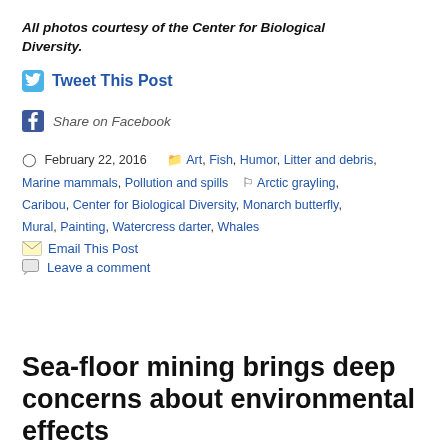All photos courtesy of the Center for Biological Diversity.
Tweet This Post
Share on Facebook
February 22, 2016   Art, Fish, Humor, Litter and debris, Marine mammals, Pollution and spills   Arctic grayling, Caribou, Center for Biological Diversity, Monarch butterfly, Mural, Painting, Watercress darter, Whales
Email This Post
Leave a comment
Sea-floor mining brings deep concerns about environmental effects